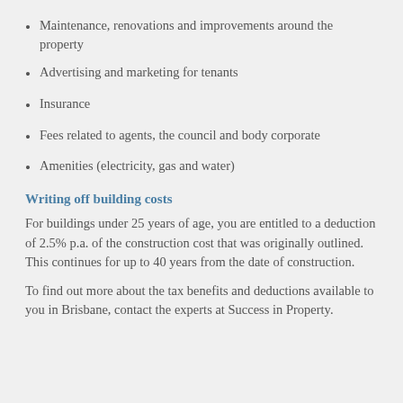Maintenance, renovations and improvements around the property
Advertising and marketing for tenants
Insurance
Fees related to agents, the council and body corporate
Amenities (electricity, gas and water)
Writing off building costs
For buildings under 25 years of age, you are entitled to a deduction of 2.5% p.a. of the construction cost that was originally outlined. This continues for up to 40 years from the date of construction.
To find out more about the tax benefits and deductions available to you in Brisbane, contact the experts at Success in Property.